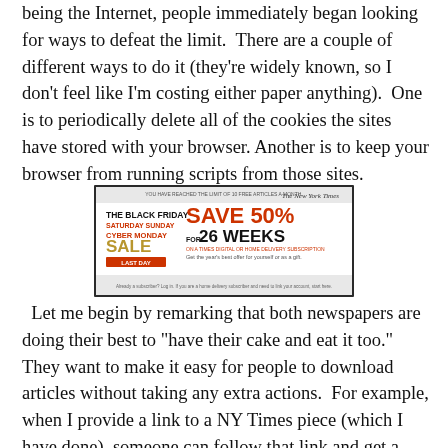being the Internet, people immediately began looking for ways to defeat the limit.  There are a couple of different ways to do it (they're widely known, so I don't feel like I'm costing either paper anything).  One is to periodically delete all of the cookies the sites have stored with your browser.  Another is to keep your browser from running scripts from those sites.
[Figure (screenshot): Screenshot of a New York Times paywall/subscription pop-up showing a Black Friday / Saturday Sunday / Cyber Monday Sale advertisement: 'SAVE 50% FOR 26 WEEKS ON A TIMES DIGITAL OR HOME DELIVERY SUBSCRIPTION. Get the year's best offer for yourself or as a gift. LAST DAY.']
Let me begin by remarking that both newspapers are doing their best to "have their cake and eat it too."  They want to make it easy for people to download articles without taking any extra actions.  For example, when I provide a link to a NY Times piece (which I have done), someone can follow that link and get a copy of the article immediately.  Unless, of course, the person following my link has already